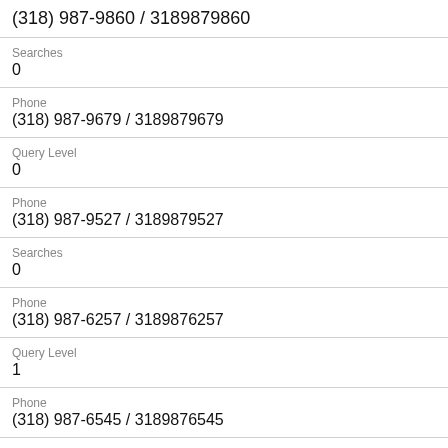(318) 987-9860 / 3189879860
Searches
0
Phone
(318) 987-9679 / 3189879679
Query Level
0
Phone
(318) 987-9527 / 3189879527
Searches
0
Phone
(318) 987-6257 / 3189876257
Query Level
1
Phone
(318) 987-6545 / 3189876545
Searches
0